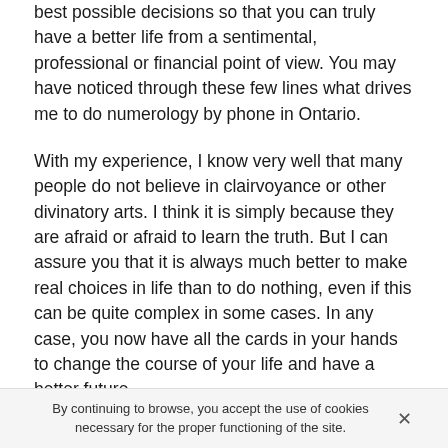best possible decisions so that you can truly have a better life from a sentimental, professional or financial point of view. You may have noticed through these few lines what drives me to do numerology by phone in Ontario.
With my experience, I know very well that many people do not believe in clairvoyance or other divinatory arts. I think it is simply because they are afraid or afraid to learn the truth. But I can assure you that it is always much better to make real choices in life than to do nothing, even if this can be quite complex in some cases. In any case, you now have all the cards in your hands to change the course of your life and have a better future.
I may not tell you what you would like to hear, but what I do is only for your own good. By the way, if you still have any doubts, I invite you to read some of the reviews of my
By continuing to browse, you accept the use of cookies necessary for the proper functioning of the site.